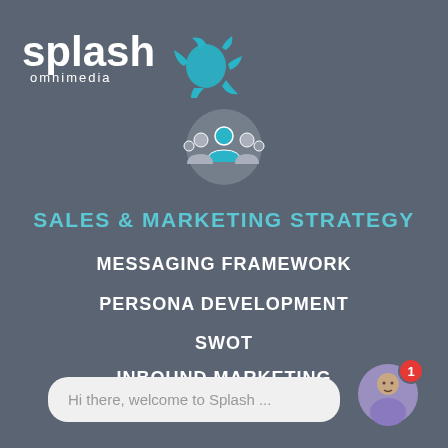[Figure (logo): Splash Omnimedia logo with text and blue splash icon]
[Figure (illustration): Group of people / audience icon in a circular grey badge]
SALES & MARKETING STRATEGY
MESSAGING FRAMEWORK
PERSONA DEVELOPMENT
SWOT
INBOUND MARKETING
CRM
Hi there, welcome to Splash ...
[Figure (photo): Avatar of a man in a purple shirt with red notification badge showing 1]